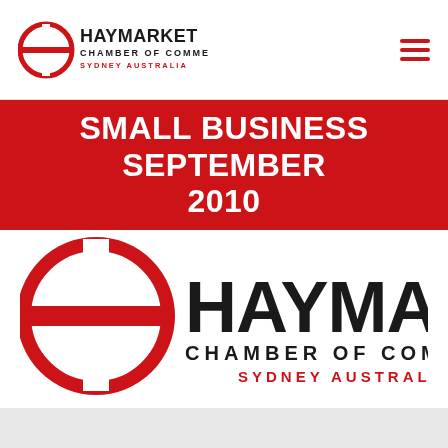Haymarket Chamber of Commerce — Sydney Australia
SMALL BUSINESS SEPTEMBER 2010
[Figure (logo): Haymarket Chamber of Commerce logo — large version with red circular symbol and black HAYMARKET text, CHAMBER OF COMMERCE subtitle, SYDNEY AUSTRALIA in red below]